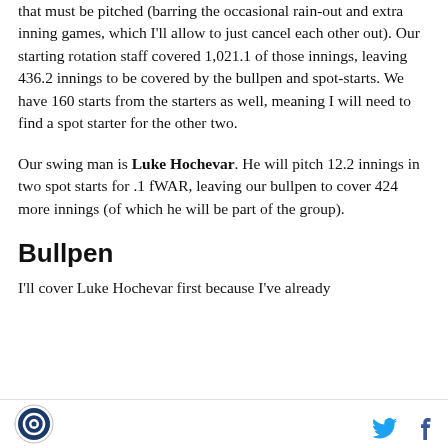that must be pitched (barring the occasional rain-out and extra inning games, which I'll allow to just cancel each other out). Our starting rotation staff covered 1,021.1 of those innings, leaving 436.2 innings to be covered by the bullpen and spot-starts. We have 160 starts from the starters as well, meaning I will need to find a spot starter for the other two.
Our swing man is Luke Hochevar. He will pitch 12.2 innings in two spot starts for .1 fWAR, leaving our bullpen to cover 424 more innings (of which he will be part of the group).
Bullpen
I'll cover Luke Hochevar first because I've already